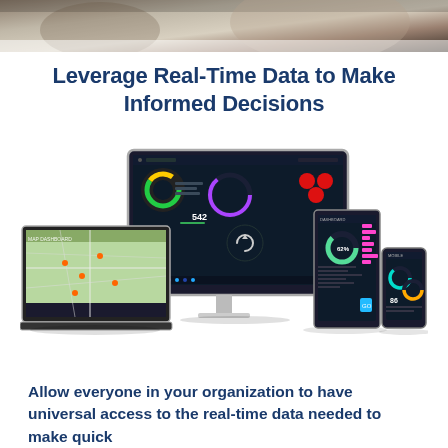[Figure (photo): Top banner photo showing a blurred background with light and dark tones, partial view of a person]
Leverage Real-Time Data to Make Informed Decisions
[Figure (screenshot): Marketing image showing multiple devices (desktop monitor, laptop, and two smartphones/tablets) all displaying dark-themed real-time data dashboards with charts, gauges, maps, and analytics UI]
Allow everyone in your organization to have universal access to the real-time data needed to make quick